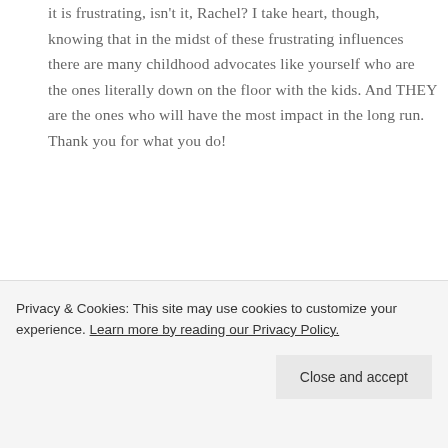it is frustrating, isn't it, Rachel? I take heart, though, knowing that in the midst of these frustrating influences there are many childhood advocates like yourself who are the ones literally down on the floor with the kids. And THEY are the ones who will have the most impact in the long run. Thank you for what you do!
Reply
Privacy & Cookies: This site may use cookies to customize your experience. Learn more by reading our Privacy Policy.
Close and accept